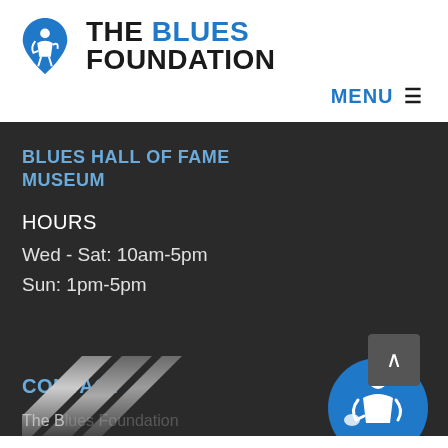[Figure (logo): The Blues Foundation logo - blue guitar pick shape with white figure playing guitar, followed by organization name in bold. 'THE' and 'FOUNDATION' in dark/black, 'BLUES' in blue.]
MENU ≡
BLUES HALL OF FAME MUSEUM
HOURS
Wed - Sat: 10am-5pm
Sun: 1pm-5pm
CONTACT
The Blues Foundation